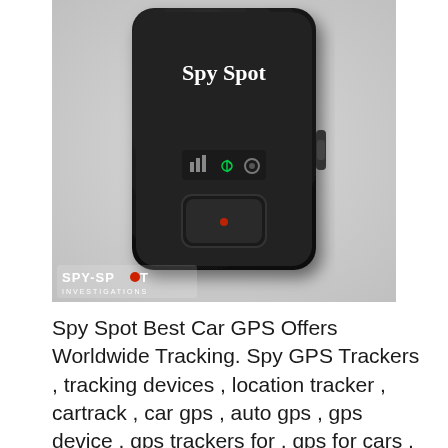[Figure (photo): A black rectangular GPS tracking device labeled 'Spy Spot' on its face, with indicator lights and a button. The device has a compact form factor. In the bottom-left corner is the SPY-SPOT INVESTIGATIONS logo with a red dot in the 'O'.]
Spy Spot Best Car GPS Offers Worldwide Tracking. Spy GPS Trackers , tracking devices , location tracker , cartrack , car gps , auto gps , gps device , gps trackers for , gps for cars , gps units , vehicle tracking device , car tracking device , spy gps , track my vehicle , real time